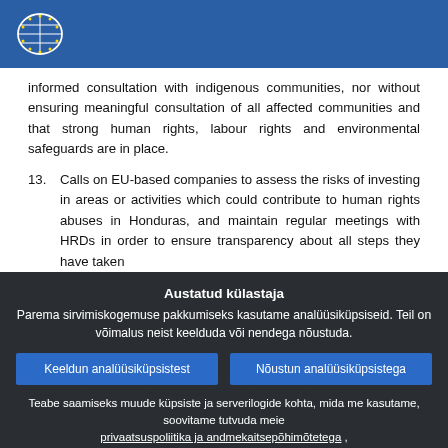European Parliament header with logo
informed consultation with indigenous communities, nor without ensuring meaningful consultation of all affected communities and that strong human rights, labour rights and environmental safeguards are in place.
13. Calls on EU-based companies to assess the risks of investing in areas or activities which could contribute to human rights abuses in Honduras, and maintain regular meetings with HRDs in order to ensure transparency about all steps they have taken
Austatud külastaja
Parema sirvimiskogemuse pakkumiseks kasutame analüüsiküpsiseid. Teil on võimalus neist keelduda või nendega nõustuda.
Keeldun analüüsiküpsistest | Nõustun analüüsiküpsistega
Teabe saamiseks muude küpsiste ja serverilogide kohta, mida me kasutame, soovitame tutvuda meie privaatsuspoliitika ja andmekaitsepõhimõtetega , küpsiste kasutamise põhimõtetega ja küpsiste loeteluga.